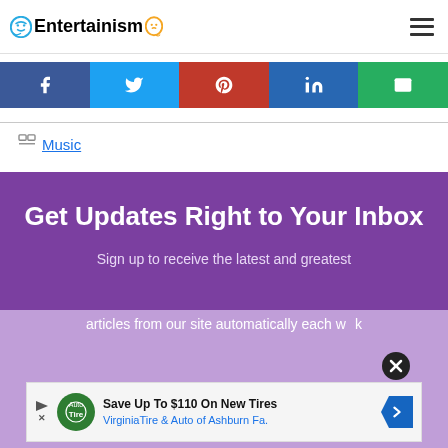Entertainism
[Figure (infographic): Social share buttons: Facebook (dark blue), Twitter (light blue), Pinterest (red), LinkedIn (blue), Email (green)]
Music
[Figure (infographic): Purple newsletter signup box with title 'Get Updates Right to Your Inbox' and subtitle 'Sign up to receive the latest and greatest articles from our site automatically each week']
[Figure (infographic): Advertisement banner: Save Up To $110 On New Tires - VirginiaTire & Auto of Ashburn Fa.]